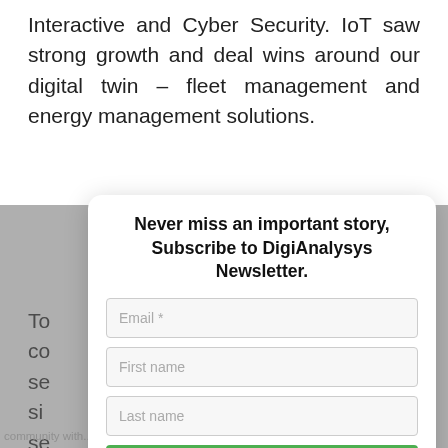Interactive and Cyber Security. IoT saw strong growth and deal wins around our digital twin – fleet management and energy management solutions.
To... co... se... si... se... ec...
[Figure (screenshot): Modal popup overlay: 'Never miss an important story, Subscribe to DigiAnalysys Newsletter.' with Email, First name, Last name fields and a Subscribe button.]
Cy... an... ac...
community with... (bottom strip, partially visible)